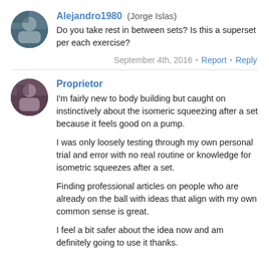Alejandro1980 (Jorge Islas)
Do you take rest in between sets? Is this a superset per each exercise?
September 4th, 2016 • Report • Reply
Proprietor
I'm fairly new to body building but caught on instinctively about the isomeric squeezing after a set because it feels good on a pump.

I was only loosely testing through my own personal trial and error with no real routine or knowledge for isometric squeezes after a set.

Finding professional articles on people who are already on the ball with ideas that align with my own common sense is great.

I feel a bit safer about the idea now and am definitely going to use it thanks.